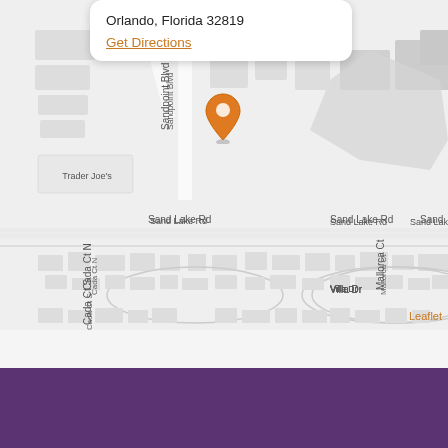[Figure (map): Street map showing location near Sand Lake Rd in Orlando, Florida 32819, with an orange map pin marker and a white popup callout box. Lower portion shows residential streets including Villa Dr, Cada Ct N, Cada Ct S, and Mallorca Ct.]
Orlando, Florida 32819
Get Directions
Leaflet